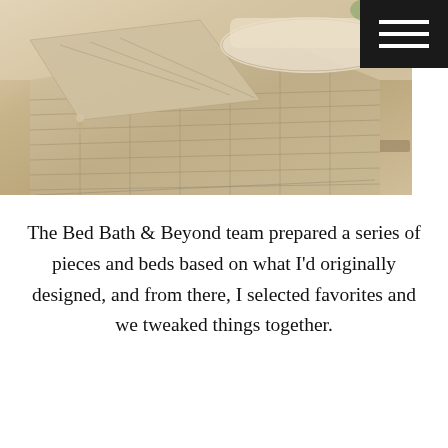[Figure (photo): Close-up photograph of beige/linen quilted bedding and pillows on a bed, with folded quilt showing textured stitching pattern in neutral tones]
The Bed Bath & Beyond team prepared a series of pieces and beds based on what I'd originally designed, and from there, I selected favorites and we tweaked things together.